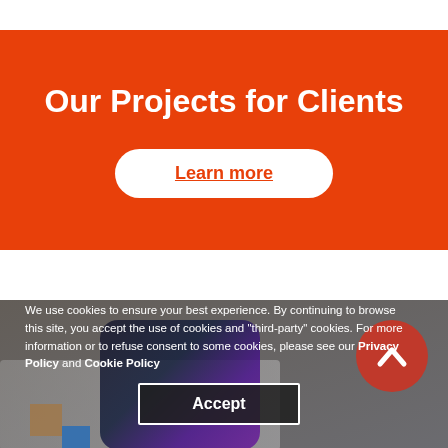Our Projects for Clients
Learn more
[Figure (screenshot): Cookie consent overlay over a photo of a smartphone on a keyboard, with a red circle logo icon in the top right. Below is a cookie notice text with an Accept button.]
We use cookies to ensure your best experience. By continuing to browse this site, you accept the use of cookies and "third-party" cookies. For more information or to refuse consent to some cookies, please see our Privacy Policy and Cookie Policy
Accept